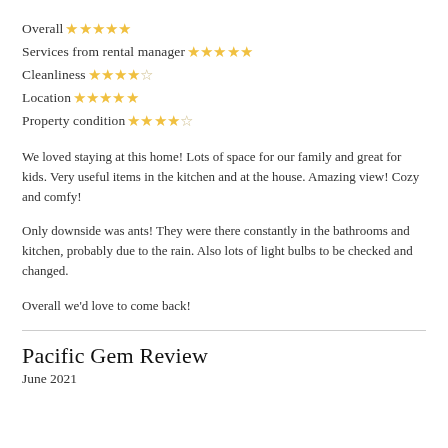Overall ★★★★★
Services from rental manager ★★★★★
Cleanliness ★★★★☆
Location ★★★★★
Property condition ★★★★☆
We loved staying at this home! Lots of space for our family and great for kids. Very useful items in the kitchen and at the house. Amazing view! Cozy and comfy!
Only downside was ants! They were there constantly in the bathrooms and kitchen, probably due to the rain. Also lots of light bulbs to be checked and changed.
Overall we'd love to come back!
Pacific Gem Review
June 2021